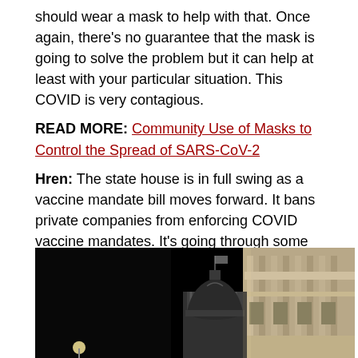should wear a mask to help with that. Once again, there's no guarantee that the mask is going to solve the problem but it can help at least with your particular situation. This COVID is very contagious.
READ MORE: Community Use of Masks to Control the Spread of SARS-CoV-2
Hren: The state house is in full swing as a vaccine mandate bill moves forward. It bans private companies from enforcing COVID vaccine mandates. It's going through some changes as bills do. But do you think our legislators are on the right track with this bill during a pandemic?
[Figure (photo): Night photo of a state capitol building dome illuminated against a dark sky, with ornate architectural details visible on the right side.]